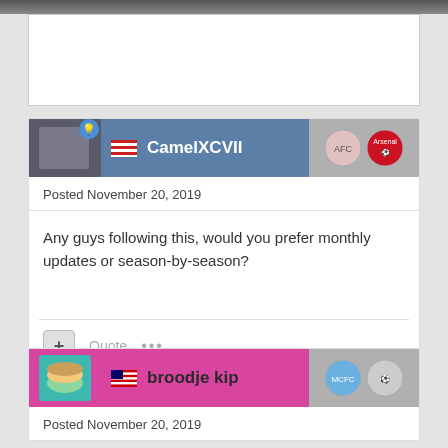[Figure (photo): Partial top image strip, dark background]
[Figure (photo): White advertisement or image block]
CamelXCVII
Posted November 20, 2019
Any guys following this, would you prefer monthly updates or season-by-season?
broodje kip
Posted November 20, 2019